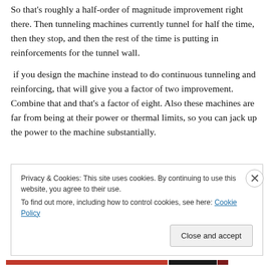So that's roughly a half-order of magnitude improvement right there. Then tunneling machines currently tunnel for half the time, then they stop, and then the rest of the time is putting in reinforcements for the tunnel wall.
if you design the machine instead to do continuous tunneling and reinforcing, that will give you a factor of two improvement. Combine that and that's a factor of eight. Also these machines are far from being at their power or thermal limits, so you can jack up the power to the machine substantially.
Privacy & Cookies: This site uses cookies. By continuing to use this website, you agree to their use.
To find out more, including how to control cookies, see here: Cookie Policy
Close and accept